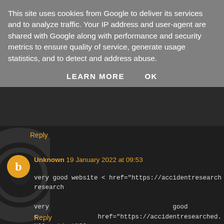This site uses cookies from Google to deliver its services and to analyze traffic. Your IP address and user-agent are shared with Google along with performance and security metrics to ensure quality of service, generate usage statistics, and to detect and address abuse.
LEARN MORE    OK
Reply
Unknown 19 January 2022 at 09:53
very good website < href="https://accidentresearched.blo... research

very                                    good
<              href="https://accidentresearched.blogspot.c...
%20accident%20-%20attorney%20.html">botaing accident
research
Reply